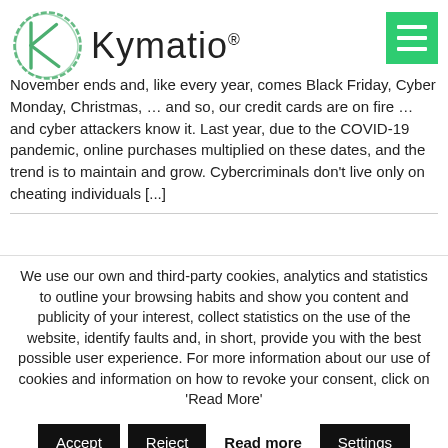[Figure (logo): Kymatio logo: green circular sketch icon on the left, text 'Kymatio®' to the right in dark gray]
November ends and, like every year, comes Black Friday, Cyber Monday, Christmas, … and so, our credit cards are on fire … and cyber attackers know it. Last year, due to the COVID-19 pandemic, online purchases multiplied on these dates, and the trend is to maintain and grow. Cybercriminals don't live only on cheating individuals [...]
We use our own and third-party cookies, analytics and statistics to outline your browsing habits and show you content and publicity of your interest, collect statistics on the use of the website, identify faults and, in short, provide you with the best possible user experience. For more information about our use of cookies and information on how to revoke your consent, click on 'Read More'
Accept
Reject
Read more
Settings